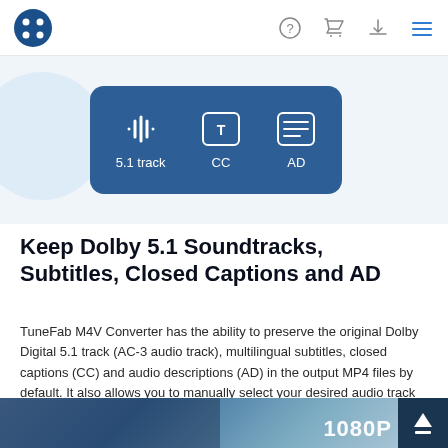TuneFab M4V Converter - header navigation with logo, help, cart, download, and menu icons
[Figure (screenshot): App UI screenshot showing a dark blue card with three icons: audio waveform labeled '5.1 track', a T-in-box labeled 'CC', and a list icon labeled 'AD'. A light blue bubble shape is visible on the left.]
Keep Dolby 5.1 Soundtracks, Subtitles, Closed Captions and AD
TuneFab M4V Converter has the ability to preserve the original Dolby Digital 5.1 track (AC-3 audio track), multilingual subtitles, closed captions (CC) and audio descriptions (AD) in the output MP4 files by default. It also allows you to manually select your desired audio track and subtitle from the available options.
[Figure (screenshot): Bottom partial screenshot showing a cinematic/movie scene with '1080P' text overlay and a dark back-to-top arrow button in the lower right corner.]